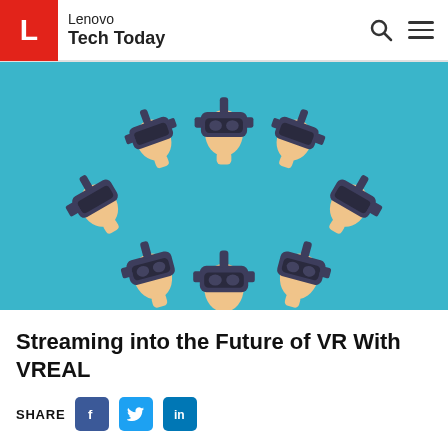Lenovo Tech Today
[Figure (illustration): Eight VR headsets arranged in a circular pattern on a teal/blue background, showing the headset from different angles (front, back, sides, diagonals). Each headset is illustrated with a mannequin head wearing it.]
Streaming into the Future of VR With VREAL
SHARE [Facebook] [Twitter] [LinkedIn]